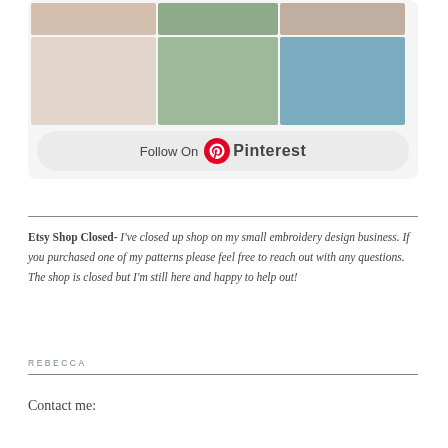[Figure (screenshot): Pinterest widget showing a grid of fabric and nature photos with a Follow On Pinterest button]
Etsy Shop Closed- I've closed up shop on my small embroidery design business. If you purchased one of my patterns please feel free to reach out with any questions. The shop is closed but I'm still here and happy to help out!
REBECCA
Contact me: